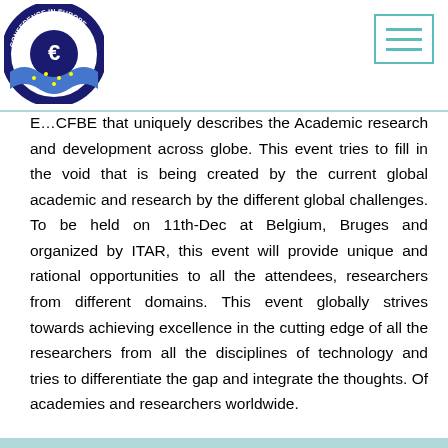Conference in Europe logo and navigation
E...CFBE that uniquely describes the Academic research and development across globe. This event tries to fill in the void that is being created by the current global academic and research by the different global challenges. To be held on 11th-Dec at Belgium, Bruges and organized by ITAR, this event will provide unique and rational opportunities to all the attendees, researchers from different domains. This event globally strives towards achieving excellence in the cutting edge of all the researchers from all the disciplines of technology and tries to differentiate the gap and integrate the thoughts. Of academies and researchers worldwide.